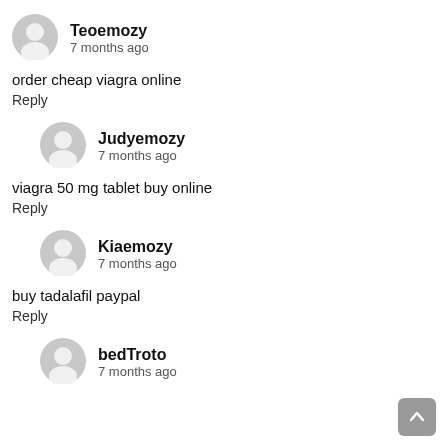Teoemozy
7 months ago
order cheap viagra online
Reply
Judyemozy
7 months ago
viagra 50 mg tablet buy online
Reply
Kiaemozy
7 months ago
buy tadalafil paypal
Reply
bedTroto
7 months ago